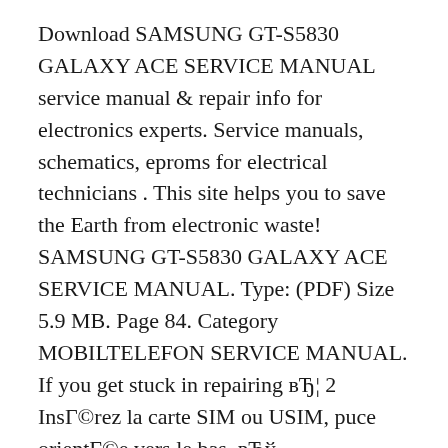Download SAMSUNG GT-S5830 GALAXY ACE SERVICE MANUAL service manual & repair info for electronics experts. Service manuals, schematics, eproms for electrical technicians . This site helps you to save the Earth from electronic waste! SAMSUNG GT-S5830 GALAXY ACE SERVICE MANUAL. Type: (PDF) Size 5.9 MB. Page 84. Category MOBILTELEFON SERVICE MANUAL. If you get stuck in repairing вЂ¦ 2 InsГ©rez la carte SIM ou USIM, puce orientГ©e vers le bas. вЂў NвЂ™introduisez pas de carte mГ©moire dans le compartiment prГ©vu pour la carte SIM. Si une carte mГ©moire venait Г  se coincer dans le compartiment prГ©vu pour la carte SIM, apportez lвЂ™appareil dans un